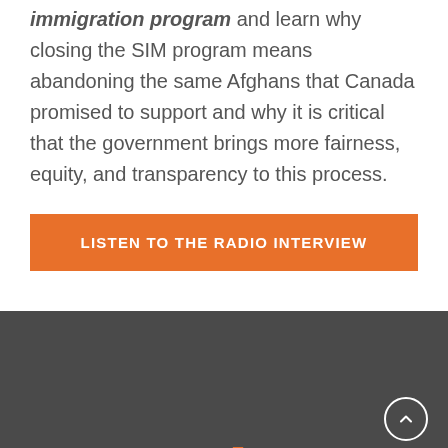immigration program and learn why closing the SIM program means abandoning the same Afghans that Canada promised to support and why it is critical that the government brings more fairness, equity, and transparency to this process.
LISTEN TO THE RADIO INTERVIEW
Newsletter